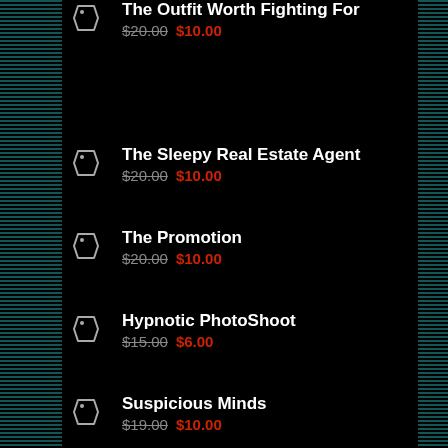The Outfit Worth Fighting For — $20.00 $10.00
The Sleepy Real Estate Agent — $20.00 $10.00
The Promotion — $20.00 $10.00
Hypnotic PhotoShoot — $15.00 $6.00
Suspicious Minds — $19.00 $10.00
Fighting Over The Wrong Man — $18.00 $10.00
Blonde Ambition